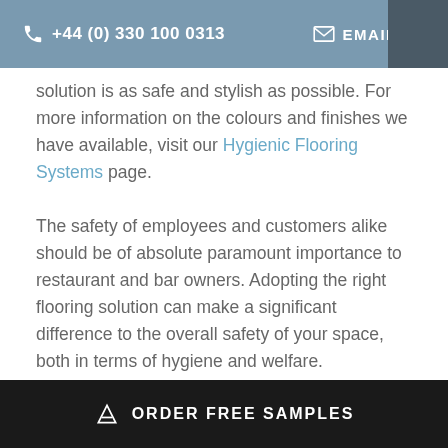+44 (0) 330 100 0313   EMAIL US
solution is as safe and stylish as possible. For more information on the colours and finishes we have available, visit our Hygienic Flooring Systems page.
The safety of employees and customers alike should be of absolute paramount importance to restaurant and bar owners. Adopting the right flooring solution can make a significant difference to the overall safety of your space, both in terms of hygiene and welfare.
ORDER FREE SAMPLES